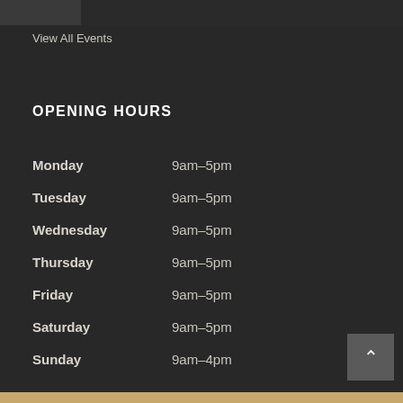[Figure (photo): Partial image visible at top of page]
View All Events
OPENING HOURS
Monday   9am–5pm
Tuesday   9am–5pm
Wednesday   9am–5pm
Thursday   9am–5pm
Friday   9am–5pm
Saturday   9am–5pm
Sunday   9am–4pm